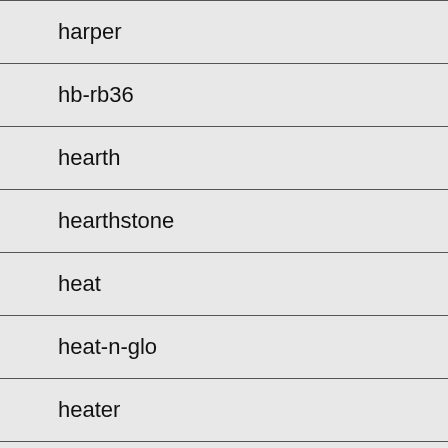harper
hb-rb36
hearth
hearthstone
heat
heat-n-glo
heater
heatilator
heating
highland